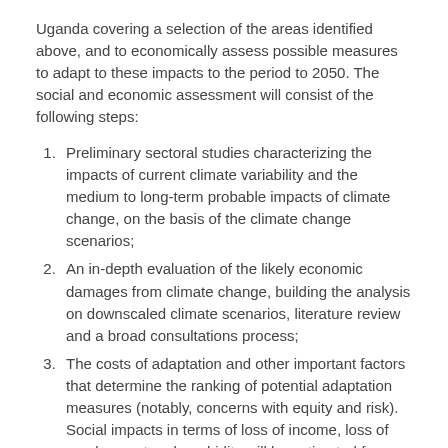Uganda covering a selection of the areas identified above, and to economically assess possible measures to adapt to these impacts to the period to 2050. The social and economic assessment will consist of the following steps:
Preliminary sectoral studies characterizing the impacts of current climate variability and the medium to long-term probable impacts of climate change, on the basis of the climate change scenarios;
An in-depth evaluation of the likely economic damages from climate change, building the analysis on downscaled climate scenarios, literature review and a broad consultations process;
The costs of adaptation and other important factors that determine the ranking of potential adaptation measures (notably, concerns with equity and risk). Social impacts in terms of loss of income, loss of employment and morbidity will be estimated for those sectors where such effects are likely to occur.
Gerelateerde publicaties